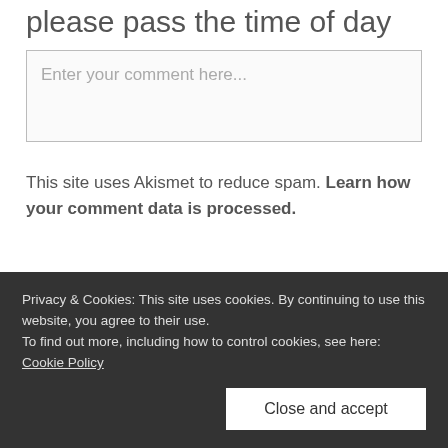please pass the time of day
Enter your comment here...
This site uses Akismet to reduce spam. Learn how your comment data is processed.
Privacy & Cookies: This site uses cookies. By continuing to use this website, you agree to their use.
To find out more, including how to control cookies, see here: Cookie Policy
Close and accept